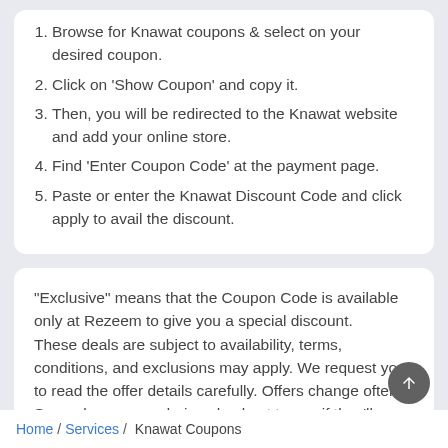Browse for Knawat coupons & select on your desired coupon.
Click on 'Show Coupon' and copy it.
Then, you will be redirected to the Knawat website and add your online store.
Find 'Enter Coupon Code' at the payment page.
Paste or enter the Knawat Discount Code and click apply to avail the discount.
"Exclusive" means that the Coupon Code is available only at Rezeem to give you a special discount.
These deals are subject to availability, terms, conditions, and exclusions may apply. We request you to read the offer details carefully. Offers change often, So apply coupons during checkout to see if they'll work.
Home / Services / Knawat Coupons